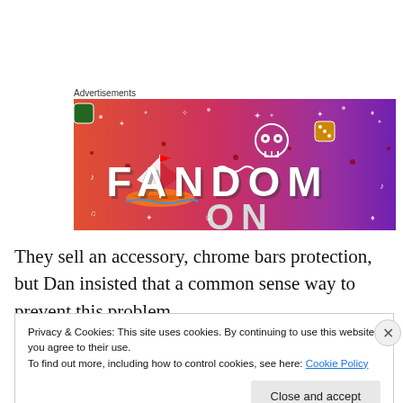Advertisements
[Figure (illustration): Fandom advertisement banner with colorful gradient background (orange to pink to purple), featuring a sailboat illustration, dice, skull, and large 'FANDOM' text in black block letters. White doodle icons scattered throughout.]
They sell an accessory, chrome bars protection, but Dan insisted that a common sense way to prevent this problem
Privacy & Cookies: This site uses cookies. By continuing to use this website, you agree to their use.
To find out more, including how to control cookies, see here: Cookie Policy
Close and accept